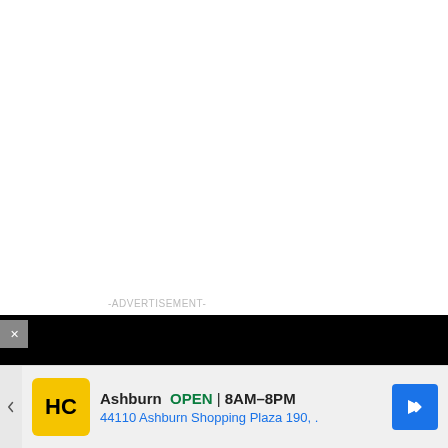-ADVERTISEMENT-
[Figure (screenshot): Video thumbnail showing a black background with a crescent/eclipse circle shape on the left and a small golden dot to the right, part of a video player bar]
How To Open 7 Chakras - Meditation and Healing - SunSigns.Org
[Figure (screenshot): Bottom advertisement banner showing HC logo (yellow square with HC letters), business name 'Ashburn OPEN 8AM-8PM', address '44110 Ashburn Shopping Plaza 190,.' and a blue navigation arrow icon]